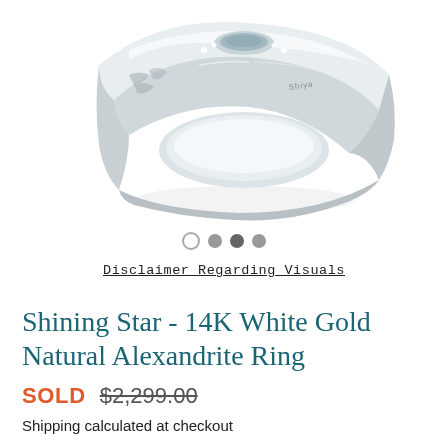[Figure (photo): Close-up photo of a 14K white gold alexandrite ring with diamond accents, shown at an angle against a white background. The ring has an engraved floral/leaf pattern with a stone center. A small brand mark is visible on the band.]
Disclaimer Regarding Visuals
Shining Star - 14K White Gold Natural Alexandrite Ring
SOLD  $2,299.00
Shipping calculated at checkout